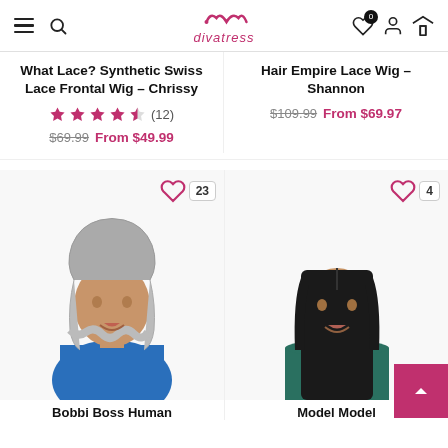divatress navigation header with hamburger, search, logo, wishlist, account, cart
What Lace? Synthetic Swiss Lace Frontal Wig – Chrissy
★★★★☆ (12) $69.99 From $49.99
Hair Empire Lace Wig – Shannon $109.99 From $69.97
[Figure (photo): Model wearing silver/grey wavy bob wig, blue sleeveless top, wishlist heart icon with count 23]
Bobbi Boss Human
[Figure (photo): Model wearing straight black long wig, green strapless top, wishlist heart icon with count 4]
Model Model